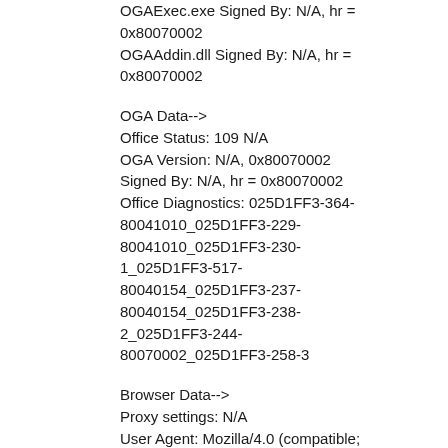OGAExec.exe Signed By: N/A, hr = 0x80070002
OGAAddin.dll Signed By: N/A, hr = 0x80070002
OGA Data-->
Office Status: 109 N/A
OGA Version: N/A, 0x80070002
Signed By: N/A, hr = 0x80070002
Office Diagnostics: 025D1FF3-364-80041010_025D1FF3-229-80041010_025D1FF3-230-1_025D1FF3-517-80040154_025D1FF3-237-80040154_025D1FF3-238-2_025D1FF3-244-80070002_025D1FF3-258-3
Browser Data-->
Proxy settings: N/A
User Agent: Mozilla/4.0 (compatible; MSIE 8.0; Win32)
Default Browser: C:\Program Files (x86)\Mozilla Firefox\firefox.exe
Download signed ActiveX controls: Prompt
Download unsigned ActiveX controls: Disabled